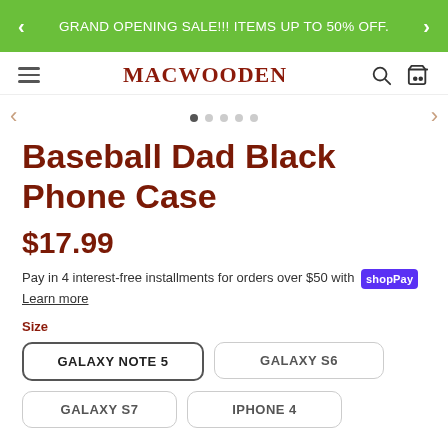GRAND OPENING SALE!!! ITEMS UP TO 50% OFF.
MACWOODEN
Baseball Dad Black Phone Case
$17.99
Pay in 4 interest-free installments for orders over $50 with shopPay Learn more
Size
GALAXY NOTE 5
GALAXY S6
GALAXY S7
IPHONE 4